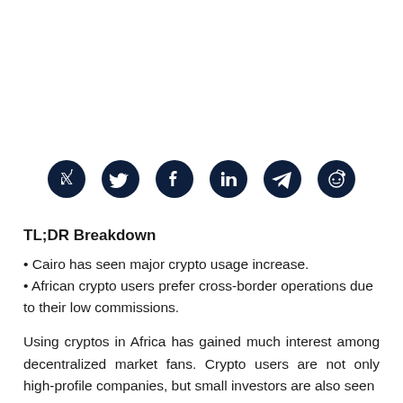[Figure (other): Row of five social media share icons: Twitter, Facebook, LinkedIn, Telegram, Reddit — dark navy circles on white background]
TL;DR Breakdown
Cairo has seen major crypto usage increase.
African crypto users prefer cross-border operations due to their low commissions.
Using cryptos in Africa has gained much interest among decentralized market fans. Crypto users are not only high-profile companies, but small investors are also seen